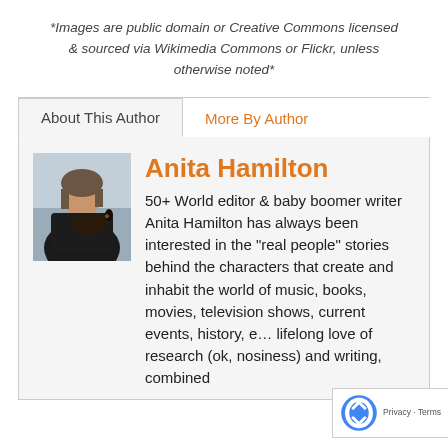*Images are public domain or Creative Commons licensed & sourced via Wikimedia Commons or Flickr, unless otherwise noted*
About This Author
More By Author
Anita Hamilton
50+ World editor & baby boomer writer Anita Hamilton has always been interested in the "real people" stories behind the characters that create and inhabit the world of music, books, movies, television shows, current events, history, e… lifelong love of research (ok, nosiness) and writing, combined
[Figure (photo): Author photo of Anita Hamilton holding a small black dog]